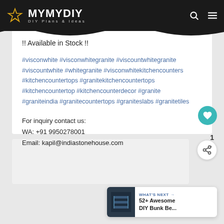MYMYDIY DIY Plans & Ideas
!! Available in Stock !!
#visconwhite #visconwhitegranite #viscountwhitegranite #viscountwhite #whitegranite #visconwhitekitchencounters #kitchencountertops #granitekitchencountertops #kitchencountertop #kitchencounterdecor #granite #graniteindia #granitecountertops #graniteslabs #granitetiles
For inquiry contact us:
WA: +91 9950278001
Email: kapil@indiastonehouse.com
WHAT'S NEXT → 52+ Awesome DIY Bunk Be...